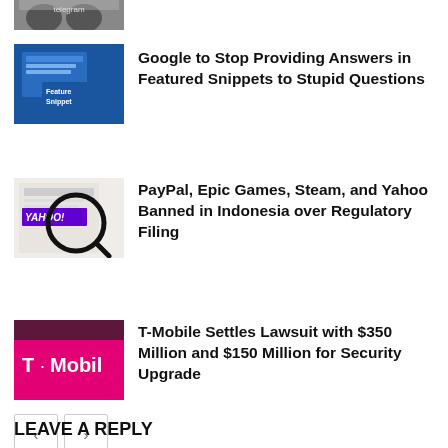[Figure (photo): Partial image of Telegram logo at top of page]
[Figure (photo): Google Featured Snippets blue background image with 'Featured Snippets' text]
Google to Stop Providing Answers in Featured Snippets to Stupid Questions
[Figure (photo): Yahoo logo seen through a magnifying glass on a document]
PayPal, Epic Games, Steam, and Yahoo Banned in Indonesia over Regulatory Filing
[Figure (photo): T-Mobile store sign with pink/magenta background]
T-Mobile Settles Lawsuit with $350 Million and $150 Million for Security Upgrade
LEAVE A REPLY